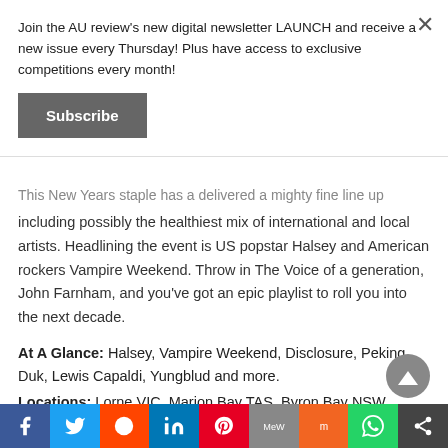Join the AU review's new digital newsletter LAUNCH and receive a new issue every Thursday! Plus have access to exclusive competitions every month!
Subscribe
This New Years staple has a delivered a mighty fine line up including possibly the healthiest mix of international and local artists. Headlining the event is US popstar Halsey and American rockers Vampire Weekend. Throw in The Voice of a generation, John Farnham, and you've got an epic playlist to roll you into the next decade.
At A Glance: Halsey, Vampire Weekend, Disclosure, Peking Duk, Lewis Capaldi, Yungblud and more.
Locations: Lorne VIC, Marion Bay TAS, Byron Bay NSW, Fremantle WA.
Tickets: Moshtix
[Figure (other): Social media share bar with icons for Facebook, Twitter, Reddit, LinkedIn, Pinterest, MeWe, Mix, WhatsApp, and Share]